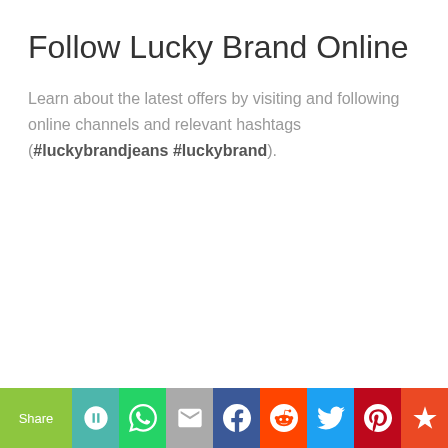Follow Lucky Brand Online
Learn about the latest offers by visiting and following online channels and relevant hashtags (#luckybrandjeans #luckybrand).
Share | social sharing bar